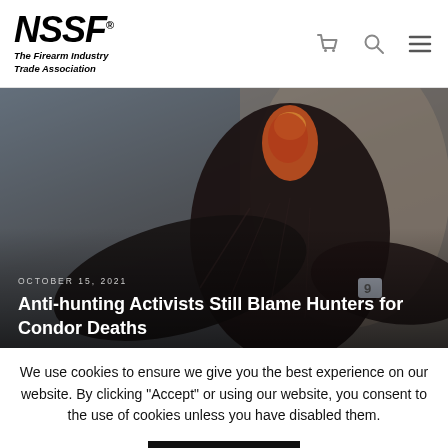NSSF® The Firearm Industry Trade Association
[Figure (photo): Close-up photo of a California condor with dark feathers, reddish head, and a numbered tag on its wing, perched against a rocky background. Overlay text shows article date and title.]
OCTOBER 15, 2021
Anti-hunting Activists Still Blame Hunters for Condor Deaths
California banned the use of traditional ammunition statewide in 2019, but anti-hunting activists continue to blame traditional
We use cookies to ensure we give you the best experience on our website. By clicking "Accept" or using our website, you consent to the use of cookies unless you have disabled them.
ACCEPT